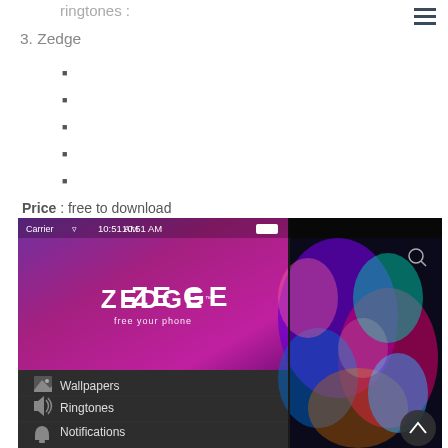ringtones :
3. Zedge
■
■
■
■
■
Price : free to download
[Figure (screenshot): Screenshot of the Zedge app showing the app logo on a purple gradient background with a menu listing Wallpapers, Ringtones, and Notifications on a dark panel. Right side shows a colorful abstract wallpaper.]